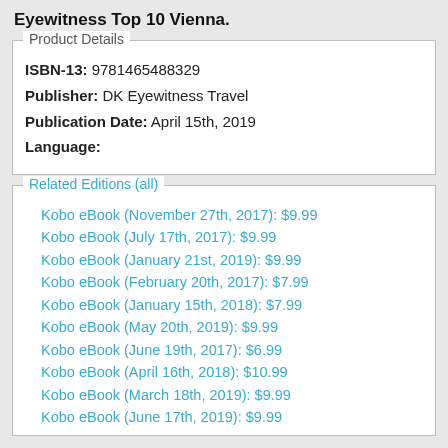Eyewitness Top 10 Vienna.
Product Details
ISBN-13: 9781465488329
Publisher: DK Eyewitness Travel
Publication Date: April 15th, 2019
Language:
Related Editions (all)
Kobo eBook (November 27th, 2017): $9.99
Kobo eBook (July 17th, 2017): $9.99
Kobo eBook (January 21st, 2019): $9.99
Kobo eBook (February 20th, 2017): $7.99
Kobo eBook (January 15th, 2018): $7.99
Kobo eBook (May 20th, 2019): $9.99
Kobo eBook (June 19th, 2017): $6.99
Kobo eBook (April 16th, 2018): $10.99
Kobo eBook (March 18th, 2019): $9.99
Kobo eBook (June 17th, 2019): $9.99